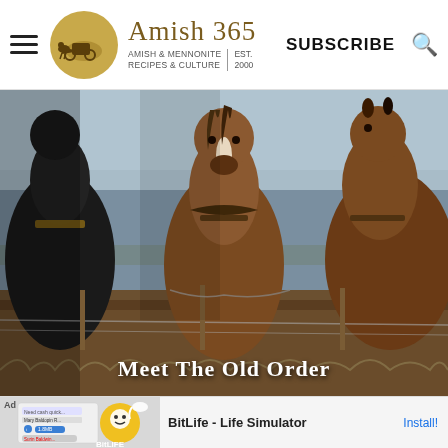Amish 365 | AMISH & MENNONITE RECIPES & CULTURE | EST. 2000 | SUBSCRIBE
[Figure (photo): Close-up photo of several draft horses in harness standing in a plowed field with a winter landscape in the background]
Meet The Old Order
[Figure (screenshot): Advertisement banner for BitLife - Life Simulator app with app icon and Install button]